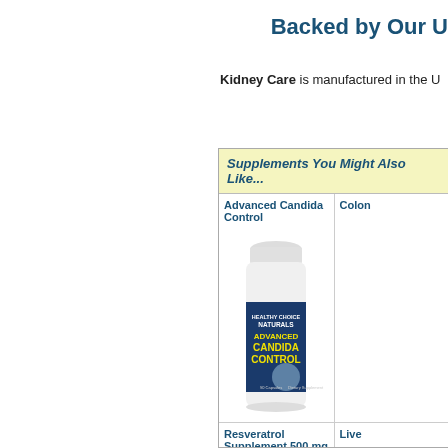Backed by Our U
Kidney Care is manufactured in the U...
Supplements You Might Also Like...
Advanced Candida Control
Colon...
[Figure (photo): Supplement bottle for Advanced Candida Control by Healthy Choice Naturals]
Resveratrol Supplement 500 mg
Live...
[Figure (photo): Supplement bottle for Resveratrol Supplement by Healthy Choice Naturals]